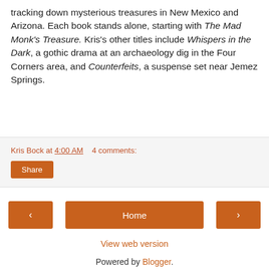tracking down mysterious treasures in New Mexico and Arizona. Each book stands alone, starting with The Mad Monk's Treasure. Kris's other titles include Whispers in the Dark, a gothic drama at an archaeology dig in the Four Corners area, and Counterfeits, a suspense set near Jemez Springs.
Kris Bock at 4:00 AM   4 comments:
Share
‹
Home
›
View web version
Powered by Blogger.